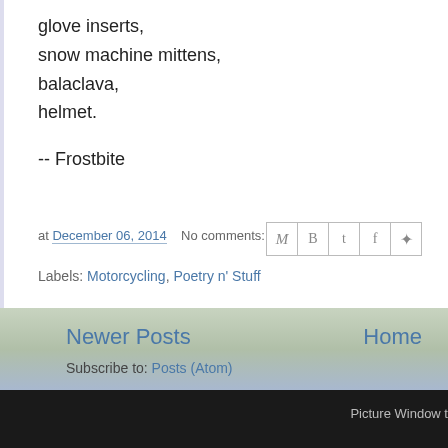glove inserts,
snow machine mittens,
balaclava,
helmet.
-- Frostbite
at December 06, 2014   No comments:
Labels: Motorcycling, Poetry n' Stuff
Newer Posts
Home
Subscribe to: Posts (Atom)
Picture Window t